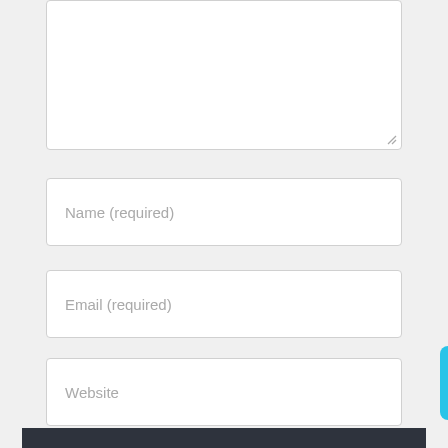[Figure (screenshot): Textarea input box (top of page, partially visible), white background with light gray border and resize handle in bottom right corner]
Name (required)
Email (required)
Website
POST COMMENT
[Figure (photo): Dark background with a white coffee cup showing steam rising and a stylized B logo on the cup, partially visible at bottom of page]